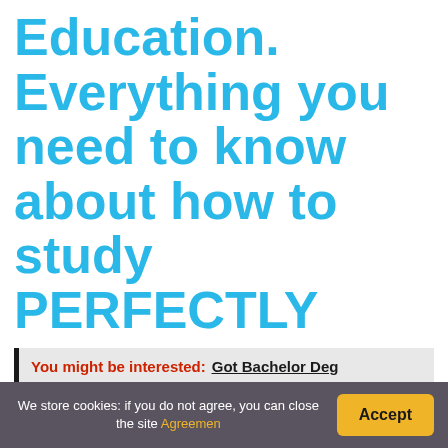Education. Everything you need to know about how to study PERFECTLY
You might be interested: Got Bachelor Deg…
Which engineer is most in-demand?
We store cookies: if you do not agree, you can close the site Agreement